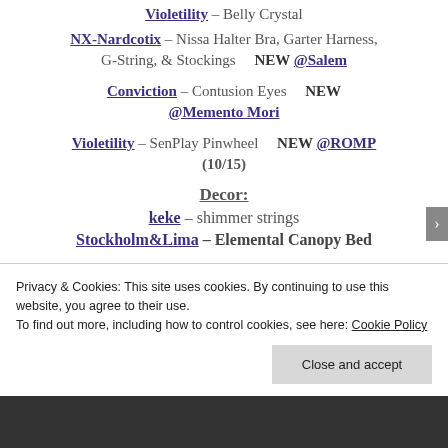Violetility – Belly Crystal
NX-Nardcotix – Nissa Halter Bra, Garter Harness, G-String, & Stockings   NEW @Salem
Conviction – Contusion Eyes   NEW @Memento Mori
Violetility – SenPlay Pinwheel   NEW @ROMP (10/15)
Decor:
keke – shimmer strings
Stockholm&Lima – Elemental Canopy Bed
Privacy & Cookies: This site uses cookies. By continuing to use this website, you agree to their use.
To find out more, including how to control cookies, see here: Cookie Policy
Close and accept